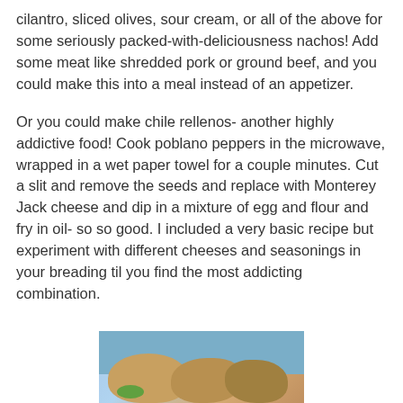cilantro, sliced olives, sour cream, or all of the above for some seriously packed-with-deliciousness nachos! Add some meat like shredded pork or ground beef, and you could make this into a meal instead of an appetizer.
Or you could make chile rellenos- another highly addictive food! Cook poblano peppers in the microwave, wrapped in a wet paper towel for a couple minutes. Cut a slit and remove the seeds and replace with Monterey Jack cheese and dip in a mixture of egg and flour and fry in oil- so so good. I included a very basic recipe but experiment with different cheeses and seasonings in your breading til you find the most addicting combination.
[Figure (photo): Photo of chile rellenos or Mexican food dish, partially visible at the bottom of the page, showing fried/baked items on a plate with a blue patterned background.]